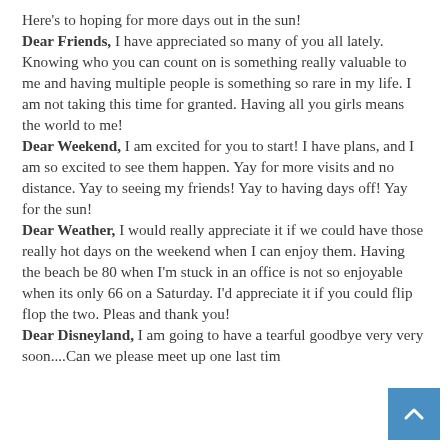Here's to hoping for more days out in the sun! Dear Friends, I have appreciated so many of you all lately. Knowing who you can count on is something really valuable to me and having multiple people is something so rare in my life. I am not taking this time for granted. Having all you girls means the world to me! Dear Weekend, I am excited for you to start! I have plans, and I am so excited to see them happen. Yay for more visits and no distance. Yay to seeing my friends! Yay to having days off! Yay for the sun! Dear Weather, I would really appreciate it if we could have those really hot days on the weekend when I can enjoy them. Having the beach be 80 when I'm stuck in an office is not so enjoyable when its only 66 on a Saturday. I'd appreciate it if you could flip flop the two. Pleas and thank you! Dear Disneyland, I am going to have a tearful goodbye very very soon....Can we please meet up one last tim